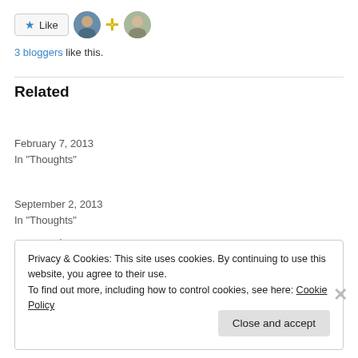[Figure (other): Like button with star icon and two user avatar photos plus a yellow cross/plus icon]
3 bloggers like this.
Related
Actual Democracy Would Be Nice
February 7, 2013
In "Thoughts"
Public Priorities
September 2, 2013
In "Thoughts"
Privacy & Cookies: This site uses cookies. By continuing to use this website, you agree to their use.
To find out more, including how to control cookies, see here: Cookie Policy